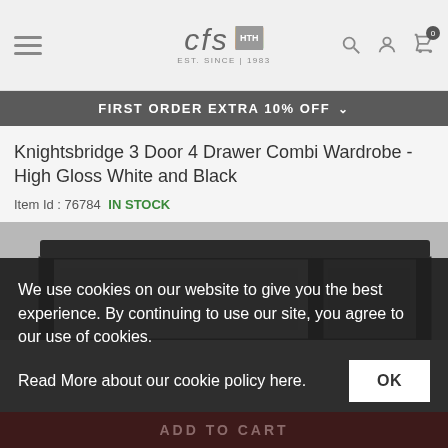CFS - Est. Since 1983
FIRST ORDER EXTRA 10% OFF
Knightsbridge 3 Door 4 Drawer Combi Wardrobe - High Gloss White and Black
Item Id : 76784  IN STOCK
[Figure (photo): Knightsbridge wardrobe product image showing top portion of a high gloss white and black wardrobe with dark frame and panels]
We use cookies on our website to give you the best experience. By continuing to use our site, you agree to our use of cookies.
Read More about our cookie policy here.
ADD TO CART